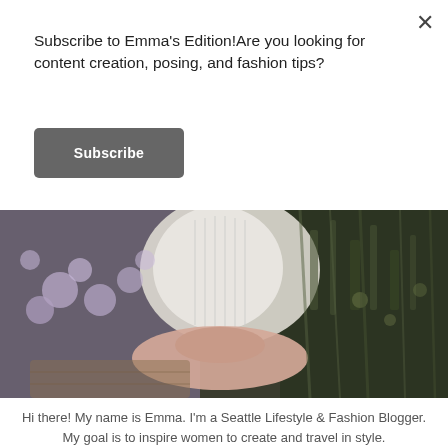Subscribe to Emma's Edition!Are you looking for content creation, posing, and fashion tips?
Subscribe
[Figure (photo): A person wearing a white top and a large pink sun hat, surrounded by purple lavender flowers and green foliage, viewed from above in an outdoor lifestyle/fashion photo.]
Hi there! My name is Emma. I'm a Seattle Lifestyle & Fashion Blogger. My goal is to inspire women to create and travel in style.